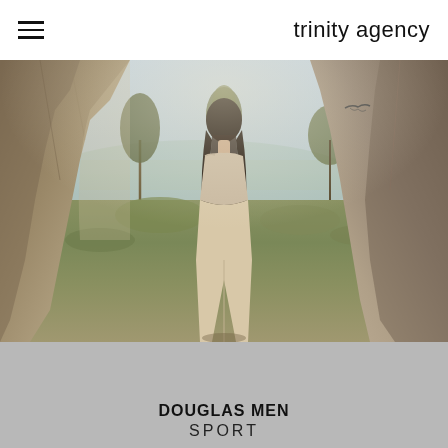trinity agency
[Figure (photo): A woman with long dark hair stands with her back to the camera between ancient stone ruins, overlooking a vast landscape with trees, hills, and a body of water in the distance. She wears a light beige top and wide-leg trousers. Natural sunlight filters through the scene.]
DOUGLAS MEN
SPORT